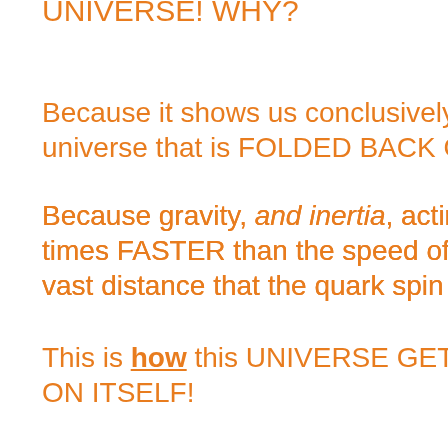UNIVERSE! WHY?
Because it shows us conclusively universe that is FOLDED BACK O[n itself]
Because gravity, and inertia, acting times FASTER than the speed of [light,] vast distance that the quark spin[s]
Then how much more effective is [a] higher frequency, FASTER SPI[NNING] particle of the quark going to be? [It] will extend even further than the [lower] frequency!
This is how this UNIVERSE GET[S BACK] ON ITSELF!